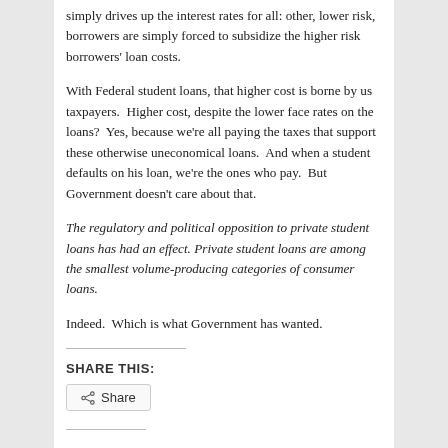simply drives up the interest rates for all: other, lower risk, borrowers are simply forced to subsidize the higher risk borrowers' loan costs.
With Federal student loans, that higher cost is borne by us taxpayers.  Higher cost, despite the lower face rates on the loans?  Yes, because we're all paying the taxes that support these otherwise uneconomical loans.  And when a student defaults on his loan, we're the ones who pay.  But Government doesn't care about that.
The regulatory and political opposition to private student loans has had an effect. Private student loans are among the smallest volume-producing categories of consumer loans.
Indeed.  Which is what Government has wanted.
SHARE THIS:
[Figure (other): Share button with share icon]